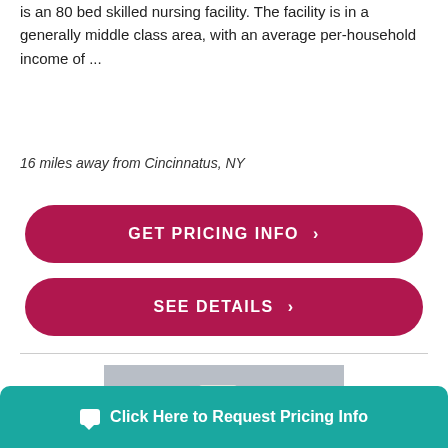is an 80 bed skilled nursing facility. The facility is in a generally middle class area, with an average per-household income of ...
16 miles away from Cincinnatus, NY
GET PRICING INFO ›
SEE DETAILS ›
[Figure (photo): Photo of a person using a medical walker, showing lower body/legs with walker frame and wheels on a gray floor.]
Click Here to Request Pricing Info